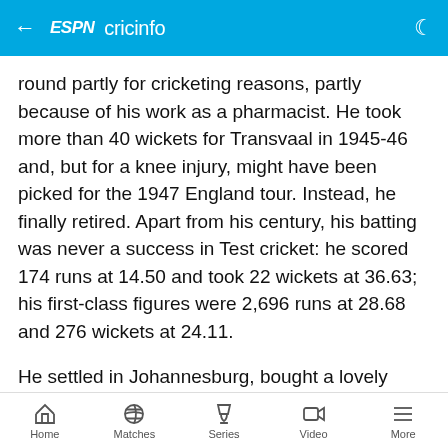ESPN cricinfo
round partly for cricketing reasons, partly because of his work as a pharmacist. He took more than 40 wickets for Transvaal in 1945-46 and, but for a knee injury, might have been picked for the 1947 England tour. Instead, he finally retired. Apart from his century, his batting was never a success in Test cricket: he scored 174 runs at 14.50 and took 22 wickets at 36.63; his first-class figures were 2,696 runs at 28.68 and 276 wickets at 24.11.
He settled in Johannesburg, bought a lovely house very cheaply and laid out a concrete pitch with a net in his garden; many players would go there for advice and he
Home | Matches | Series | Video | More